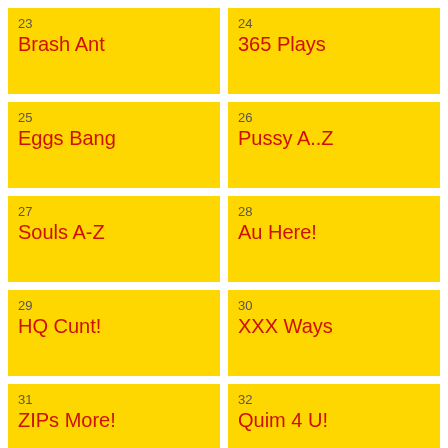23 Brash Ant
24 365 Plays
25 Eggs Bang
26 Pussy A..Z
27 Souls A-Z
28 Au Here!
29 HQ Cunt!
30 XXX Ways
31 ZIPs More!
32 Quim 4 U!
33 Pub Of Bangs
34 Bolt 4 U!
35 Bad Whale
36 Hard Bear
37 Eggs Bonk
38 Adult Zip
39 (Balls In B...)
40 (Safe...For N...)